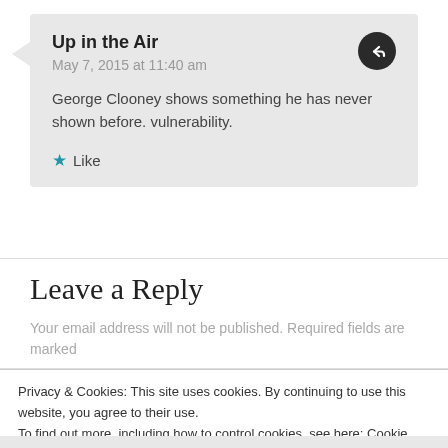Up in the Air
May 7, 2015 at 11:40 am
George Clooney shows something he has never shown before. vulnerability.
Like
Leave a Reply
Your email address will not be published. Required fields are marked
Privacy & Cookies: This site uses cookies. By continuing to use this website, you agree to their use.
To find out more, including how to control cookies, see here: Cookie Policy
Close and accept